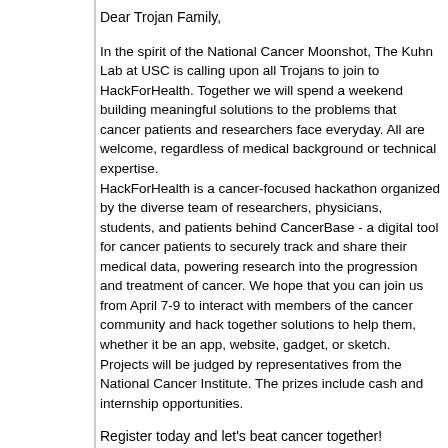Dear Trojan Family,
In the spirit of the National Cancer Moonshot, The Kuhn Lab at USC is calling upon all Trojans to join to HackForHealth. Together we will spend a weekend building meaningful solutions to the problems that cancer patients and researchers face everyday. All are welcome, regardless of medical background or technical expertise. HackForHealth is a cancer-focused hackathon organized by the diverse team of researchers, physicians, students, and patients behind CancerBase - a digital tool for cancer patients to securely track and share their medical data, powering research into the progression and treatment of cancer. We hope that you can join us from April 7-9 to interact with members of the cancer community and hack together solutions to help them, whether it be an app, website, gadget, or sketch. Projects will be judged by representatives from the National Cancer Institute. The prizes include cash and internship opportunities.
Register today and let's beat cancer together!
www.hackforhealth.co
To learn more about HackForHealth, please attended one of